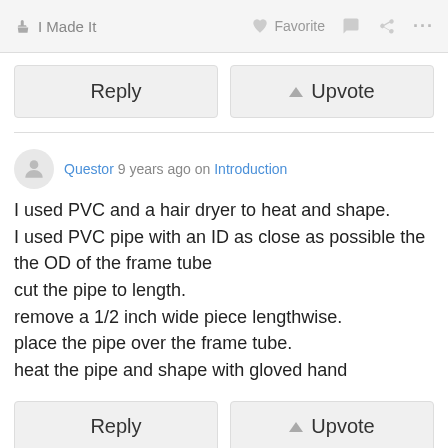I Made It   Favorite   ... ...
Reply   Upvote
Questor 9 years ago on Introduction
I used PVC and a hair dryer to heat and shape.
I used PVC pipe with an ID as close as possible the the OD of the frame tube
cut the pipe to length.
remove a 1/2 inch wide piece lengthwise.
place the pipe over the frame tube.
heat the pipe and shape with gloved hand
Reply   Upvote